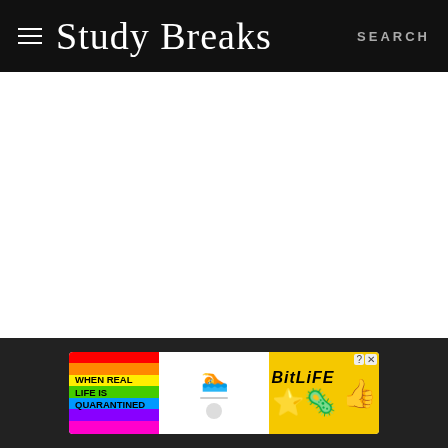Study Breaks — SEARCH
YOU MIGHT ALSO LIKE:
Xenoblade Chronicles 3 Sets The Bar High For RPGs
[Figure (screenshot): BitLife advertisement banner with rainbow background, 'When Real Life Is Quarantined' text, sperm emoji, BitLife logo in yellow, and star-eyes emoji with mask emoji.]